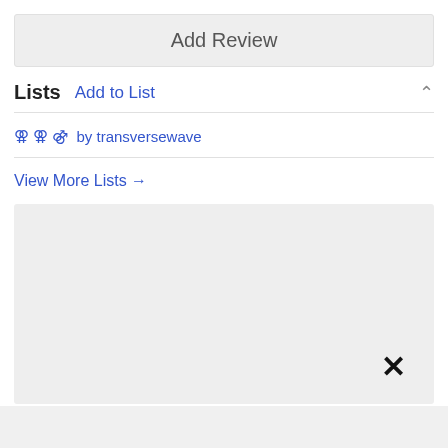Add Review
Lists  Add to List
⚢ ⚢ ⚣ by transversewave
View More Lists →
[Figure (screenshot): Gray content area with a close (×) button at the bottom right]